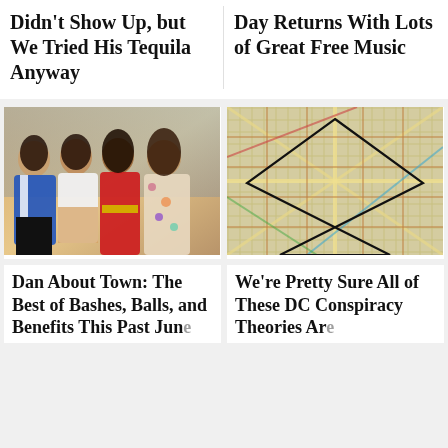Didn't Show Up, but We Tried His Tequila Anyway
Day Returns With Lots of Great Free Music
[Figure (photo): Four women posing together at an event; one in a blue blazer, one in white top, one in red dress, one in floral outfit]
[Figure (map): Aerial street map of Washington DC with a large pentagram star drawn over it in black lines]
Dan About Town: The Best of Bashes, Balls, and Benefits This Past Jun...
We're Pretty Sure All of These DC Conspiracy Theories Ar...